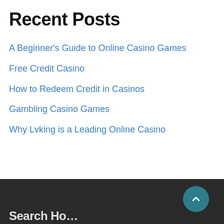Recent Posts
A Beginner's Guide to Online Casino Games
Free Credit Casino
How to Redeem Credit in Casinos
Gambling Casino Games
Why Lvking is a Leading Online Casino
Search Ho…